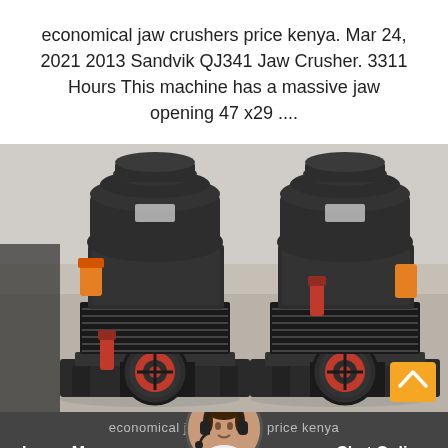economical jaw crushers price kenya. Mar 24, 2021 2013 Sandvik QJ341 Jaw Crusher. 3311 Hours This machine has a massive jaw opening 47 x29 ....
[Figure (photo): Photograph of multiple large industrial cone crushers (spring cone crusher type) in a warehouse or factory setting. Machines are dark grey/black with red and orange accents, featuring large flywheels with red trim, orange lifting lugs, heavy coil springs, and mounted on steel frames. A scroll-to-top orange button with a white upward chevron is visible in the lower-right corner of the image.]
Leave Message   economical jaw crushers price kenya   Chat Online   MWR